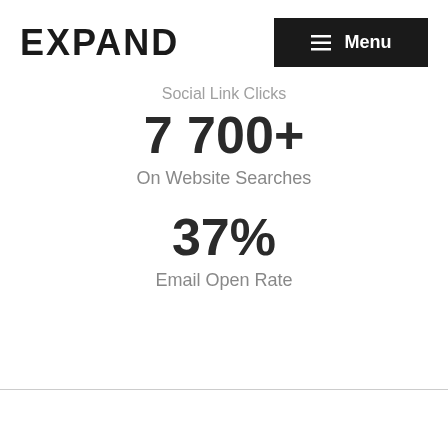EXPAND
Social Link Clicks
7 700+
On Website Searches
37%
Email Open Rate